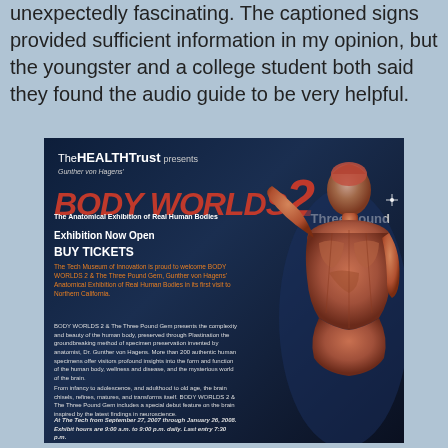unexpectedly fascinating. The captioned signs provided sufficient information in my opinion, but the youngster and a college student both said they found the audio guide to be very helpful.
[Figure (photo): Body Worlds 2 exhibition poster with dark blue background, featuring the Health Trust logo, Body Worlds 2 title in red bold italic font, subtitle 'The Anatomical Exhibition of Real Human Bodies', '& The Three Pound Gem' text, 'Exhibition Now Open', 'BUY TICKETS', orange promotional text, body description paragraphs, and a plastinated human body figure on the right side.]